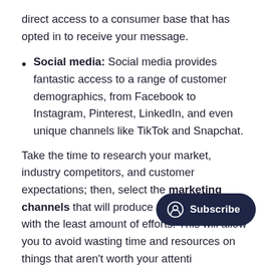direct access to a consumer base that has opted in to receive your message.
Social media: Social media provides fantastic access to a range of customer demographics, from Facebook to Instagram, Pinterest, LinkedIn, and even unique channels like TikTok and Snapchat.
Take the time to research your market, industry competitors, and customer expectations; then, select the marketing channels that will produce the best results with the least amount of efforts. This will allow you to avoid wasting time and resources on things that aren't worth your attenti
[Figure (other): Dark navy rounded pill-shaped Subscribe button with a person/circle icon on the left and the text Subscribe in white.]
5. Be ready to adapt